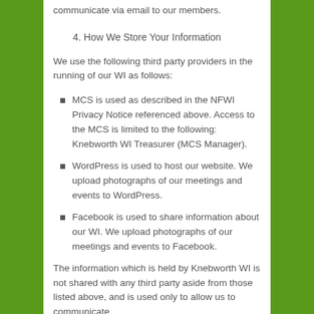communicate via email to our members.
4. How We Store Your Information
We use the following third party providers in the running of our WI as follows:
MCS is used as described in the NFWI Privacy Notice referenced above. Access to the MCS is limited to the following: Knebworth WI Treasurer (MCS Manager).
WordPress is used to host our website. We upload photographs of our meetings and events to WordPress.
Facebook is used to share information about our WI. We upload photographs of our meetings and events to Facebook.
The information which is held by Knebworth WI is not shared with any third party aside from those listed above, and is used only to allow us to communicate